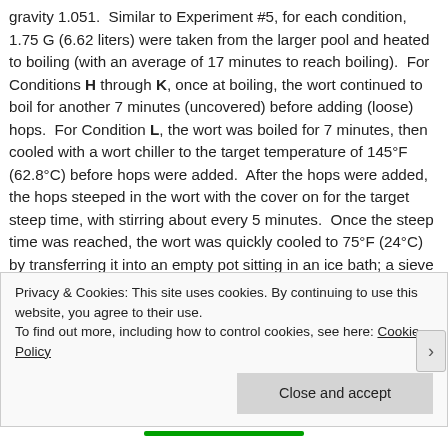gravity 1.051.  Similar to Experiment #5, for each condition, 1.75 G (6.62 liters) were taken from the larger pool and heated to boiling (with an average of 17 minutes to reach boiling).  For Conditions H through K, once at boiling, the wort continued to boil for another 7 minutes (uncovered) before adding (loose) hops.  For Condition L, the wort was boiled for 7 minutes, then cooled with a wort chiller to the target temperature of 145°F (62.8°C) before hops were added.  After the hops were added, the hops steeped in the wort with the cover on for the target steep time, with stirring about every 5 minutes.  Once the steep time was reached, the wort was quickly cooled to 75°F (24°C) by transferring it into an empty pot sitting in an ice bath; a sieve was used
Privacy & Cookies: This site uses cookies. By continuing to use this website, you agree to their use.
To find out more, including how to control cookies, see here: Cookie Policy
Close and accept